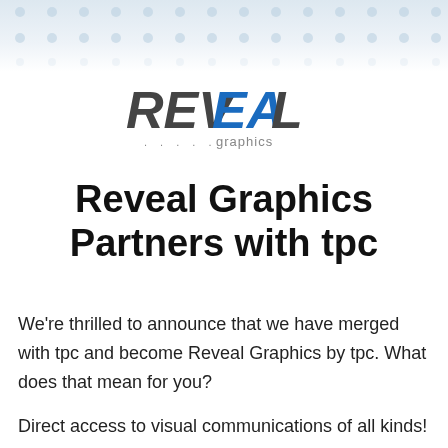[Figure (logo): Reveal Graphics logo with 'REVEAL' in bold dark gray and blue italic letters, and '...... graphics' below in gray]
Reveal Graphics Partners with tpc
We're thrilled to announce that we have merged with tpc and become Reveal Graphics by tpc. What does that mean for you?
Direct access to visual communications of all kinds!